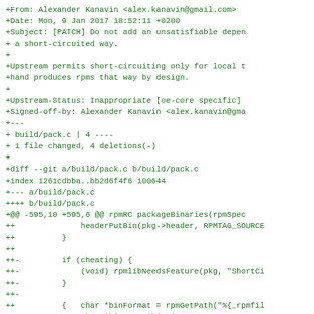+From: Alexander Kanavin <alex.kanavin@gmail.com>
+Date: Mon, 9 Jan 2017 18:52:11 +0200
+Subject: [PATCH] Do not add an unsatisfiable depen
+ a short-circuited way.
+
+Upstream permits short-circuiting only for local t
+hand produces rpms that way by design.
+
+Upstream-Status: Inappropriate [oe-core specific]
+Signed-off-by: Alexander Kanavin <alex.kanavin@gma
+---
+ build/pack.c | 4 ----
+ 1 file changed, 4 deletions(-)
+
+diff --git a/build/pack.c b/build/pack.c
+index 1261cdbba..bb2d6f4f6 100644
+--- a/build/pack.c
++++ b/build/pack.c
+@@ -595,10 +595,6 @@ rpmRC packageBinaries(rpmSpec
++              headerPutBin(pkg->header, RPMTAG_SOURCE
++          }
++
++-         if (cheating) {
++-             (void) rpmlibNeedsFeature(pkg, "ShortCi
++-         }
++-
++          {   char *binFormat = rpmGetPath("%{_rpmfil
++              char *binRpm, *binDir;
++              binRpm = headerFormat(pkg->header, binF
++--